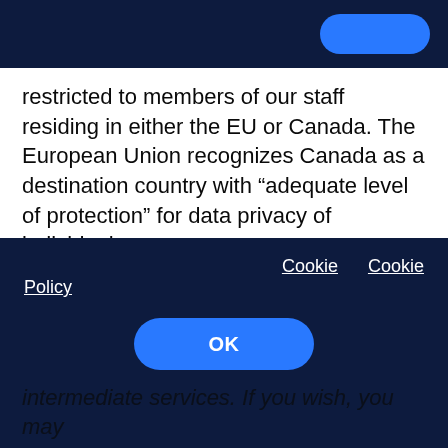[Figure (other): Dark navy top navigation bar with a blue rounded button on the right]
restricted to members of our staff residing in either the EU or Canada. The European Union recognizes Canada as a destination country with “adequate level of protection” for data privacy of individuals.
Customer support system
Our customer support and email services are
[Figure (screenshot): Dark navy cookie consent overlay banner with Cookie and Cookie Policy links and an OK button]
intermediate services. If you wish, you may